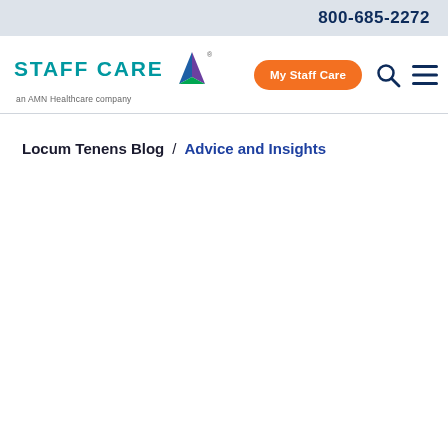800-685-2272
[Figure (logo): Staff Care - an AMN Healthcare company logo with AMN triangle icon, My Staff Care orange button, search icon, and hamburger menu icon]
Locum Tenens Blog / Advice and Insights